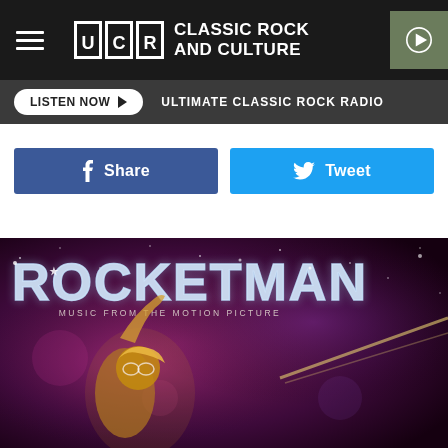UCR CLASSIC ROCK AND CULTURE
LISTEN NOW ▶  ULTIMATE CLASSIC ROCK RADIO
Share
Tweet
[Figure (photo): Rocketman: Music From The Motion Picture album/movie promotional image showing a performer with sparkling ROCKETMAN title lettering on a purple/magenta cosmic background]